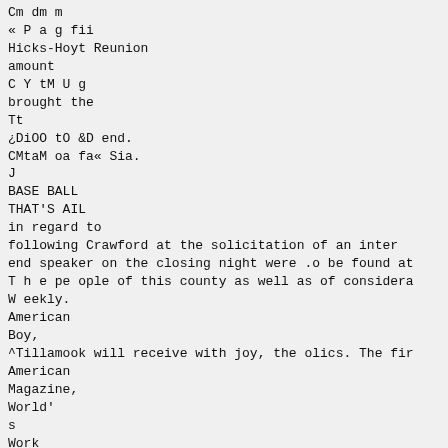Cm dm m
« P a g fii
Hicks-Hoyt Reunion
amount
C Y tM U g
brought the
Tt
¿DiOO tO &D end.
CMtaM oa fa« Sia.
J
BASE BALL
THAT'S AIL
in regard to
following Crawford at the solicitation of an inter
end speaker on the closing night were .o be found at
T h e pe ople of this county as well as of considera
W eekly.
American
Boy,
^Tillamook will receive with joy, the olics. The fir
American
Magazine,
World'
s
Work